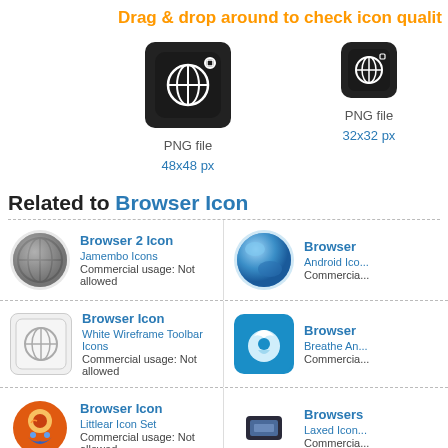Drag & drop around to check icon quality
[Figure (illustration): Browser icon PNG file 48x48 px - dark rounded square with globe/grid symbol]
[Figure (illustration): Browser icon PNG file 32x32 px - dark rounded square with globe/grid symbol]
Related to Browser Icon
[Figure (illustration): Browser 2 Icon - grey globe icon from Jamembo Icons]
Browser 2 Icon
Jamembo Icons
Commercial usage: Not allowed
[Figure (illustration): Browser icon - blue earth globe from Android Icons]
Browser
Android Ico...
Commercia...
[Figure (illustration): Browser Icon - white wireframe toolbar icon on grey]
Browser Icon
White Wireframe Toolbar Icons
Commercial usage: Not allowed
[Figure (illustration): Browser icon - blue compass/browser icon from Breathe Am...]
Browser
Breathe An...
Commercia...
[Figure (illustration): Browser Icon - cartoon fish character from Littlear Icon Set]
Browser Icon
Littlear Icon Set
Commercial usage: Not allowed
[Figure (illustration): Browsers icon - small dark icon from Laxed Icon...]
Browsers
Laxed Icon...
Commercia...
[Figure (illustration): Browser Icon - bottom row left]
Browser Icon
[Figure (illustration): Browser icon - bottom row right]
Browser